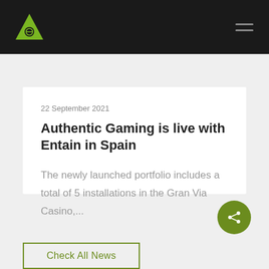Authentic Gaming
22 September 2021
Authentic Gaming is live with Entain in Spain
The newly launched portfolio includes a total of 5 installations in the Gran Via Casino,...